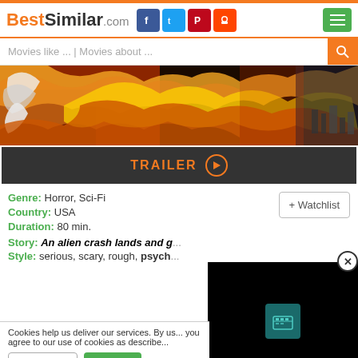BestSimilar.com
Movies like ... | Movies about ...
[Figure (photo): Colorful movie banner art with abstract painted imagery in orange, yellow, red, blue tones]
TRAILER
Genre: Horror, Sci-Fi
Country: USA
Duration: 80 min.
Story: An alien crash lands and g...
Style: serious, scary, rough, psych...
Cookies help us deliver our services. By us... you agree to our use of cookies as describe...
Preferences
Accept